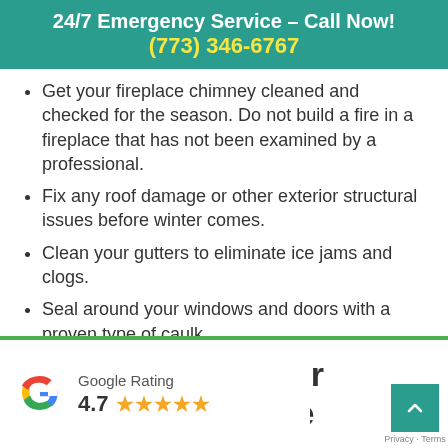24/7 Emergency Service – Call Now!
(773) 346-6767
Get your fireplace chimney cleaned and checked for the season. Do not build a fire in a fireplace that has not been examined by a professional.
Fix any roof damage or other exterior structural issues before winter comes.
Clean your gutters to eliminate ice jams and clogs.
Seal around your windows and doors with a proven type of caulk.
[Figure (other): Google Rating badge showing 4.7 stars with 5 star icons, overlaid on a bottom strip with partial text 'list for Your Chicago Home']